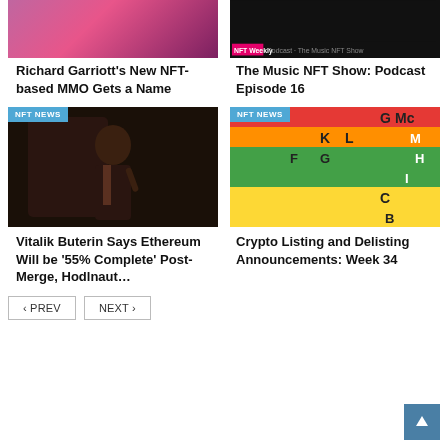[Figure (photo): Colorful event/concert image with pink tones]
Richard Garriott's New NFT-based MMO Gets a Name
[Figure (screenshot): Dark background with podcast bar showing 'NFT Weekly' pink label and 'Podcast · The Music NFT Show' text]
The Music NFT Show: Podcast Episode 16
[Figure (photo): Man speaking on stage with microphone, NFT NEWS badge overlay]
Vitalik Buterin Says Ethereum Will be '55% Complete' Post-Merge, Hodlnaut…
[Figure (photo): Colorful alphabetical index tabs (file dividers), NFT NEWS badge overlay]
Crypto Listing and Delisting Announcements: Week 34